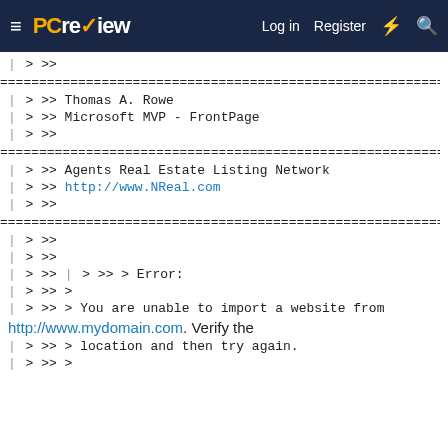PC review — Log in  Register
| > >>
================================================================
| > >> Thomas A. Rowe
| > >> Microsoft MVP - FrontPage
| > >>
================================================================
| > >> Agents Real Estate Listing Network
| > >> http://www.NReal.com
| > >>
================================================================
| > >>
| > >>
| > >> | > >> > Error:
| > >> >
| > >> > You are unable to import a website from http://www.mydomain.com. Verify the
| > >> > location and then try again.
| > >> >